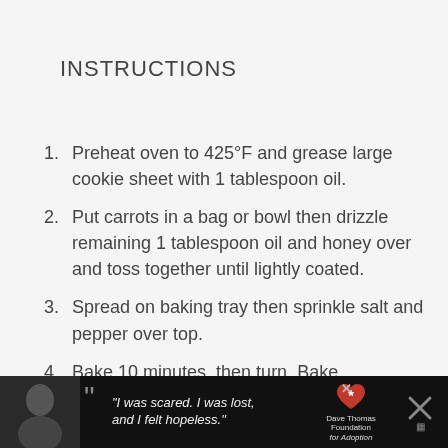INSTRUCTIONS
Preheat oven to 425°F and grease large cookie sheet with 1 tablespoon oil.
Put carrots in a bag or bowl then drizzle remaining 1 tablespoon oil and honey over and toss together until lightly coated.
Spread on baking tray then sprinkle salt and pepper over top.
Bake 10 minutes, then turn. Bake
[Figure (photo): Advertisement banner at bottom of page featuring a woman's photo in black and white, a quote 'I was scared. I was lost. and I felt hopeless.' and the Dave Thomas Foundation for Adoption logo with a heart/arrow icon.]